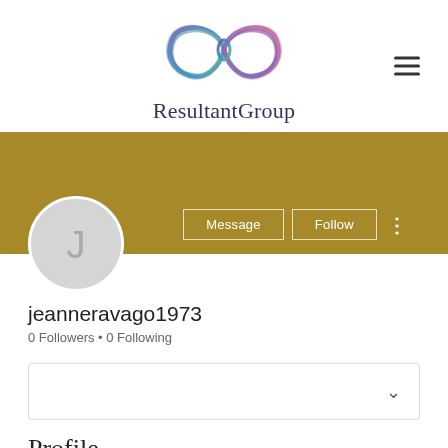[Figure (logo): ResultantGroup infinity loop logo with multicolored strands in blue, green, purple]
ResultantGroup
[Figure (screenshot): Gold/dark-yellow cover banner with Message and Follow buttons and three-dot menu, overlapping avatar circle with letter J]
jeanneravago1973
0 Followers • 0 Following
Profile